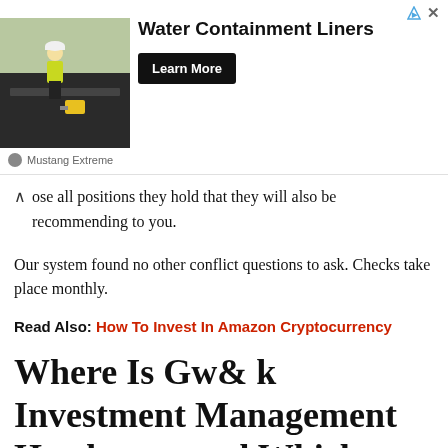[Figure (screenshot): Advertisement banner for Water Containment Liners by Mustang Extreme. Shows a worker in yellow jacket on a dark membrane surface. Includes a 'Learn More' button and close/ad icons.]
ose all positions they hold that they will also be recommending to you.
Our system found no other conflict questions to ask. Checks take place monthly.
Read Also: How To Invest In Amazon Cryptocurrency
Where Is Gw& k Investment Management Headquartered Which States Do Its Financial Advisors Serve